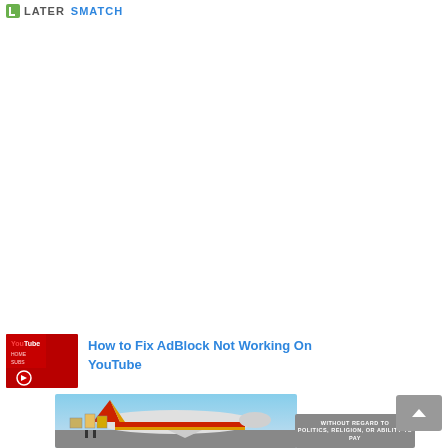LATER SMATCH
[Figure (screenshot): Blank white space — advertisement or content area (empty)]
[Figure (photo): Article thumbnail showing YouTube red interface with play button circle]
How to Fix AdBlock Not Working On YouTube
[Figure (photo): Cargo plane being loaded with boxes on airport tarmac, colorful airline livery]
[Figure (screenshot): Dark banner ad with text WITHOUT REGARD TO POLITICS, RELIGION, OR ABILITY TO PAY]